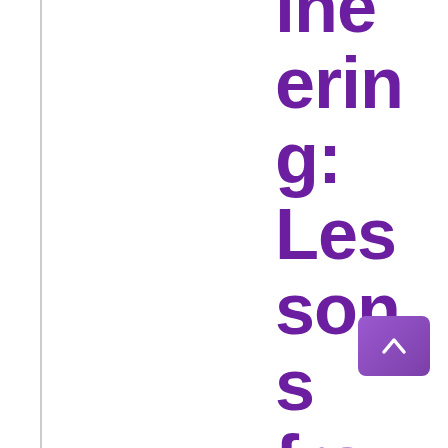Engineering: Lessons from Superhero